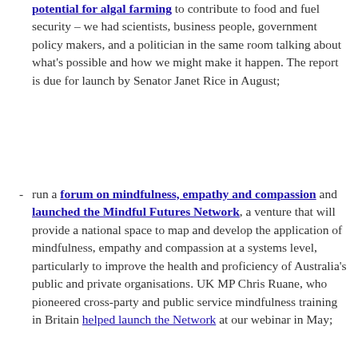potential for algal farming to contribute to food and fuel security – we had scientists, business people, government policy makers, and a politician in the same room talking about what's possible and how we might make it happen. The report is due for launch by Senator Janet Rice in August;
run a forum on mindfulness, empathy and compassion and launched the Mindful Futures Network, a venture that will provide a national space to map and develop the application of mindfulness, empathy and compassion at a systems level, particularly to improve the health and proficiency of Australia's public and private organisations. UK MP Chris Ruane, who pioneered cross-party and public service mindfulness training in Britain helped launch the Network at our webinar in May;